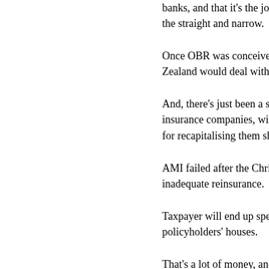banks, and that it's the job of government to keep banks on the straight and narrow.
Once OBR was conceived of, how would it work if New Zealand would deal with a failing b...
And, there's just been a suggestion that it apply to insurance companies, with policyholders being responsible for recapitalising them should they...
AMI failed after the Christchurch e... inadequate reinsurance.
Taxpayer will end up spending abo... policyholders' houses.
That's a lot of money, and econom... Initiative thinks we should conside...
In the case of AMI, which had arou... million policies, that'd be around $...
Less OBR than OMG to people al...